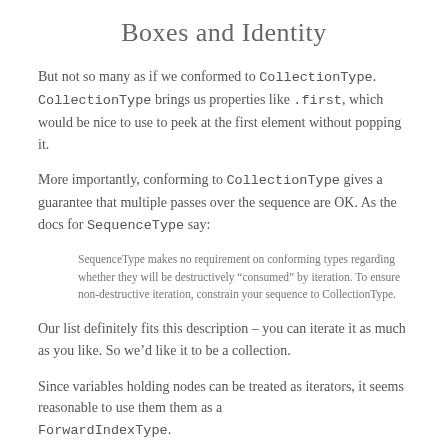Boxes and Identity
But not so many as if we conformed to CollectionType. CollectionType brings us properties like .first, which would be nice to use to peek at the first element without popping it.
More importantly, conforming to CollectionType gives a guarantee that multiple passes over the sequence are OK. As the docs for SequenceType say:
SequenceType makes no requirement on conforming types regarding whether they will be destructively “consumed” by iteration. To ensure non-destructive iteration, constrain your sequence to CollectionType.
Our list definitely fits this description – you can iterate it as much as you like. So we’d like it to be a collection.
Since variables holding nodes can be treated as iterators, it seems reasonable to use them them as a ForwardIndexType.